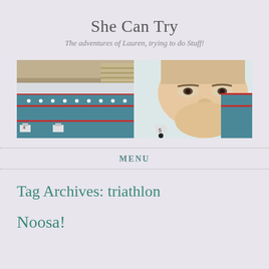She Can Try
The adventures of Lauren, trying to do Stuff!
[Figure (photo): Panoramic composite photo showing an indoor swimming pool with lane markers and starting blocks on the left, and a close-up selfie of a woman's face on the right, also at a pool facility.]
MENU
Tag Archives: triathlon
Noosa!